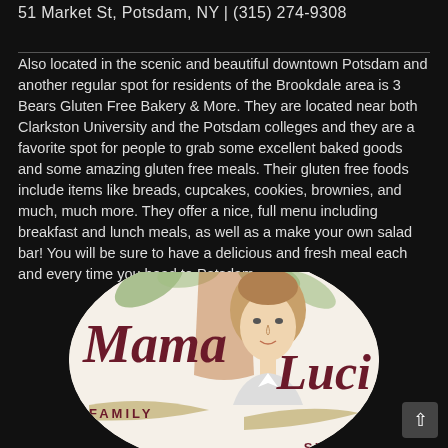51 Market St, Potsdam, NY | (315) 274-9308
Also located in the scenic and beautiful downtown Potsdam and another regular spot for residents of the Brookdale area is 3 Bears Gluten Free Bakery & More. They are located near both Clarkston University and the Potsdam colleges and they are a favorite spot for people to grab some excellent baked goods and some amazing gluten free meals. Their gluten free foods include items like breads, cupcakes, cookies, brownies, and much, much more. They offer a nice, full menu including breakfast and lunch meals, as well as a make your own salad bar! You will be sure to have a delicious and fresh meal each and every time you head to Potsdam.
[Figure (logo): Oval logo for Mama Luci's Family Style restaurant. Features italic script text 'Mama' and 'Luci' in dark red/maroon, with 'FAMILY STYLE' in capital letters. A portrait illustration of a woman in the center with decorative leaves in the background.]